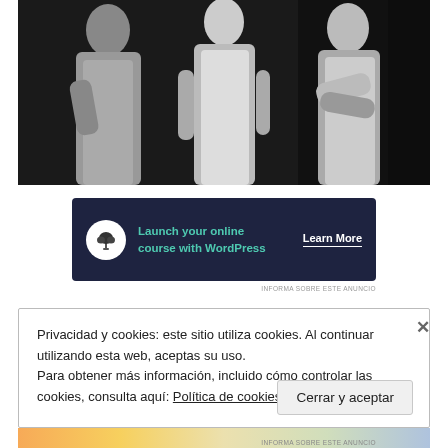[Figure (photo): Black and white photograph of three figures wearing long robes or gowns, standing together against a dark background. Theatrical or artistic scene.]
[Figure (other): Advertisement banner with dark navy background showing a bonsai tree icon, text 'Launch your online course with WordPress' and 'Learn More' button.]
INFORMA SOBRE ESTE ANUNCIO
Privacidad y cookies: este sitio utiliza cookies. Al continuar utilizando esta web, aceptas su uso.
Para obtener más información, incluido cómo controlar las cookies, consulta aquí: Política de cookies
Cerrar y aceptar
INFORMA SOBRE ESTE ANUNCIO